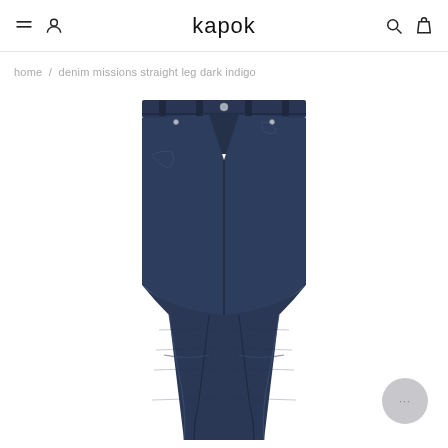kapok
home / denim missions straight leg dark indigo
[Figure (photo): Dark indigo straight leg denim jeans displayed flat on white background, showing front view with waistband, pockets, and full leg length]
[Figure (other): Chat support bubble icon with three dots]